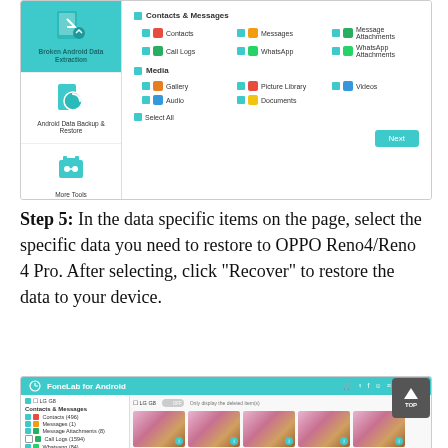[Figure (screenshot): FoneLab for Android backup/restore interface showing Contacts & Messages and Media selection options with checkboxes and a Next button]
Step 5: In the data specific items on the page, select the specific data you need to restore to OPPO Reno4/Reno 4 Pro. After selecting, click "Recover" to restore the data to your device.
[Figure (screenshot): FoneLab for Android application showing photo recovery interface with bonsai tree thumbnails and left panel showing Contacts & Messages categories]